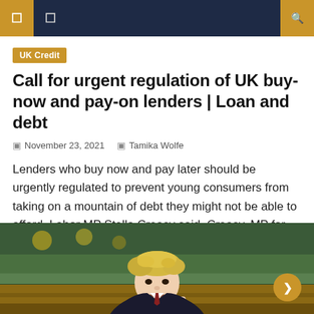Navigation bar with menu icons
UK Credit
Call for urgent regulation of UK buy-now and pay-on lenders | Loan and debt
November 23, 2021  Tamika Wolfe
Lenders who buy now and pay later should be urgently regulated to prevent young consumers from taking on a mountain of debt they might not be able to afford, Labor MP Stella Creasy said. Creasy, MP for Walthamstow, called a debate in parliament on Tuesday to draw attention to the rapid growth of companies like [...]
[Figure (photo): Photo of a blond man in a dark suit gesturing with his finger, appearing to speak in a parliamentary setting with green benches visible in background.]